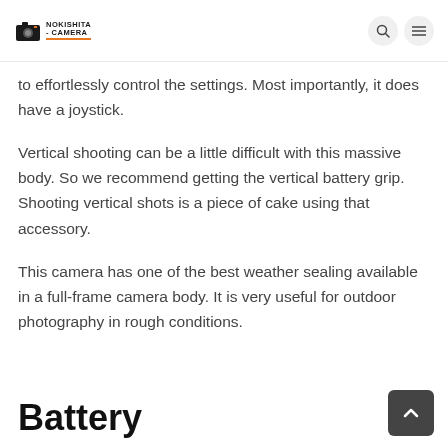NOKISHITA-CAMERA
to effortlessly control the settings. Most importantly, it does have a joystick.
Vertical shooting can be a little difficult with this massive body. So we recommend getting the vertical battery grip. Shooting vertical shots is a piece of cake using that accessory.
This camera has one of the best weather sealing available in a full-frame camera body. It is very useful for outdoor photography in rough conditions.
Battery